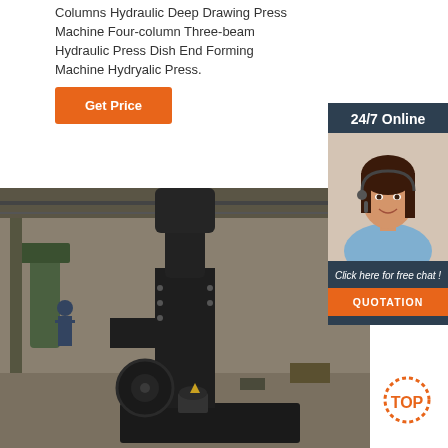Columns Hydraulic Deep Drawing Press Machine Four-column Three-beam Hydraulic Press Dish End Forming Machine Hydryalic Press.
[Figure (other): Orange 'Get Price' button]
[Figure (infographic): 24/7 Online sidebar panel with customer service agent photo, 'Click here for free chat!' text, and orange QUOTATION button]
[Figure (photo): Industrial workshop photo showing a large black hydraulic press machine on a factory floor]
[Figure (logo): Orange dotted circle 'TOP' button in bottom right corner]